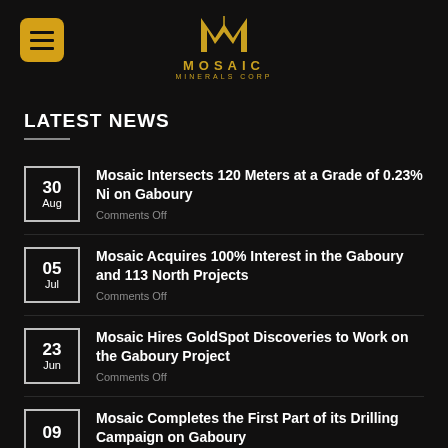[Figure (logo): Mosaic Minerals Corp logo — stylized golden M lettermark above 'MOSAIC MINERALS CORP' text in gold]
LATEST NEWS
30 Aug — Mosaic Intersects 120 Meters at a Grade of 0.23% Ni on Gaboury — Comments Off
05 Jul — Mosaic Acquires 100% Interest in the Gaboury and 113 North Projects — Comments Off
23 Jun — Mosaic Hires GoldSpot Discoveries to Work on the Gaboury Project — Comments Off
09 — Mosaic Completes the First Part of its Drilling Campaign on Gaboury